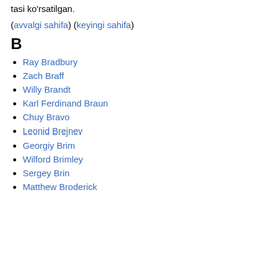tasi ko'rsatilgan.
(avvalgi sahifa) (keyingi sahifa)
B
Ray Bradbury
Zach Braff
Willy Brandt
Karl Ferdinand Braun
Chuy Bravo
Leonid Brejnev
Georgiy Brim
Wilford Brimley
Sergey Brin
Matthew Broderick